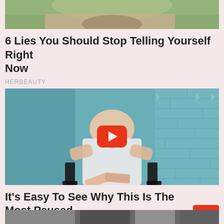[Figure (photo): Top portion of a person's face / nature scene partially visible at the top of the page]
6 Lies You Should Stop Telling Yourself Right Now
HERBEAUTY
[Figure (screenshot): Video thumbnail showing a woman in a white sleeveless top seated in a chair, with a red YouTube-style play button overlay. Background appears to be a teal brick wall.]
It's Easy To See Why This Is The Most Paused Scene Ever
TRAITSLAB
[Figure (photo): Partial bottom strip image, cut off at page edge]